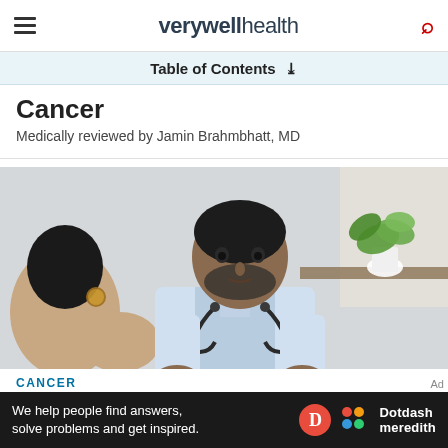verywell health
Table of Contents
Cancer
Medically reviewed by Jamin Brahmbhatt, MD
[Figure (photo): A doctor in a white coat with a stethoscope speaks with a patient. A green plant is visible in the background on a desk.]
CANCER
We help people find answers, solve problems and get inspired.
[Figure (logo): Dotdash Meredith logo with red D circle and colorful dots icon]